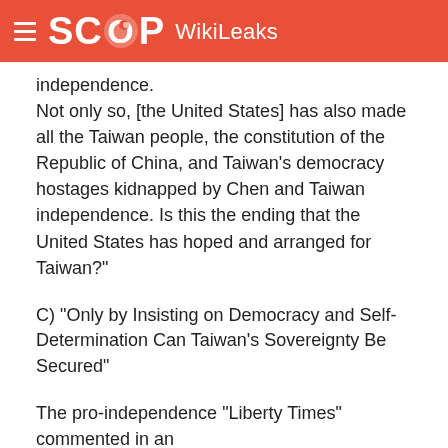SCOOP WikiLeaks
independence.
Not only so, [the United States] has also made all the Taiwan people, the constitution of the Republic of China, and Taiwan's democracy hostages kidnapped by Chen and Taiwan independence. Is this the ending that the United States has hoped and arranged for Taiwan?"
C) "Only by Insisting on Democracy and Self-Determination Can Taiwan's Sovereignty Be Secured"
The pro-independence "Liberty Times" commented in an editorial (12/4):